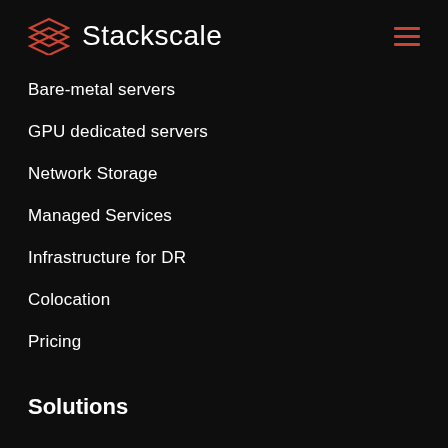Stackscale
Bare-metal servers
GPU dedicated servers
Network Storage
Managed Services
Infrastructure for DR
Colocation
Pricing
Solutions